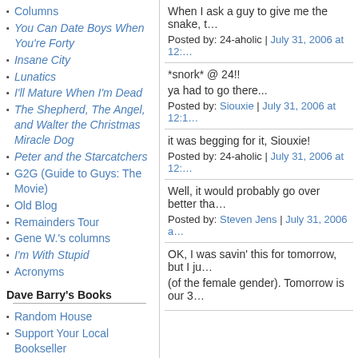Columns
You Can Date Boys When You're Forty
Insane City
Lunatics
I'll Mature When I'm Dead
The Shepherd, The Angel, and Walter the Christmas Miracle Dog
Peter and the Starcatchers
G2G (Guide to Guys: The Movie)
Old Blog
Remainders Tour
Gene W.'s columns
I'm With Stupid
Acronyms
Dave Barry's Books
Random House
Support Your Local Bookseller
Music
When I ask a guy to give me the snake, t…
Posted by: 24-aholic | July 31, 2006 at 12:…
*snork* @ 24!!

ya had to go there...
Posted by: Siouxie | July 31, 2006 at 12:1…
it was begging for it, Siouxie!
Posted by: 24-aholic | July 31, 2006 at 12:…
Well, it would probably go over better tha…
Posted by: Steven Jens | July 31, 2006 a…
OK, I was savin' this for tomorrow, but I ju… (of the female gender). Tomorrow is our 3…